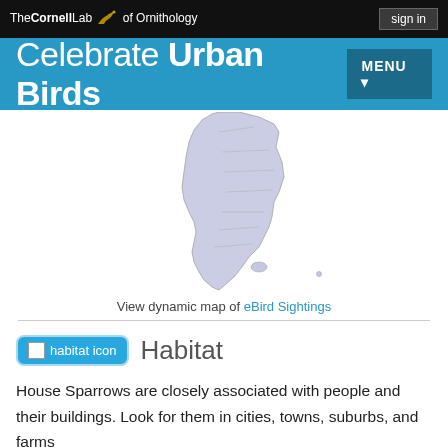The Cornell Lab of Ornithology — sign in
Celebrate Urban Birds
[Figure (map): Map showing distribution in South America, highlighted region along western coast (Chile/Argentina area) in light purple/lavender shading.]
View dynamic map of eBird Sightings
Habitat
House Sparrows are closely associated with people and their buildings. Look for them in cities, towns, suburbs, and farms